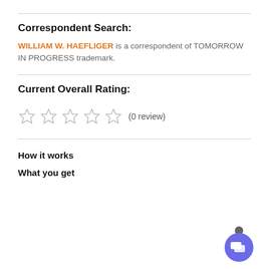Correspondent Search:
WILLIAM W. HAEFLIGER is a correspondent of TOMORROW IN PROGRESS trademark.
Current Overall Rating:
[Figure (other): Five empty star rating icons followed by (0 review)]
How it works
What you get